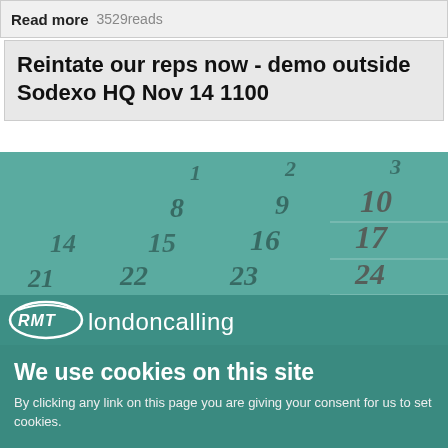Read more  3529reads
Reintate our reps now - demo outside Sodexo HQ Nov 14 1100
[Figure (photo): Calendar image with teal/green overlay showing dates including 1, 2, 3, 8, 9, 10, 14, 15, 16, 17, 21, 22, 23, 24]
[Figure (logo): RMT londoncalling logo in white on teal background]
We use cookies on this site
By clicking any link on this page you are giving your consent for us to set cookies.
OK
More info